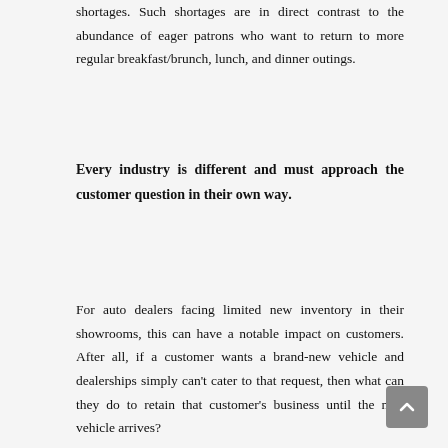shortages. Such shortages are in direct contrast to the abundance of eager patrons who want to return to more regular breakfast/brunch, lunch, and dinner outings.
Every industry is different and must approach the customer question in their own way.
For auto dealers facing limited new inventory in their showrooms, this can have a notable impact on customers. After all, if a customer wants a brand-new vehicle and dealerships simply can't cater to that request, then what can they do to retain that customer's business until the new vehicle arrives?